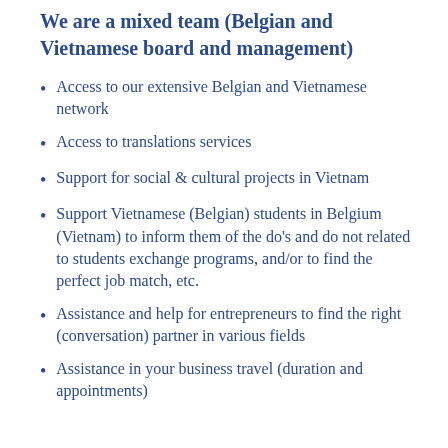We are a mixed team (Belgian and Vietnamese board and management)
Access to our extensive Belgian and Vietnamese network
Access to translations services
Support for social  & cultural projects in Vietnam
Support Vietnamese (Belgian) students in Belgium (Vietnam) to inform them of the do's and do not related to students exchange programs, and/or to find the perfect job match, etc.
Assistance and help for entrepreneurs to find the right (conversation) partner in various fields
Assistance in your business travel (duration and appointments)